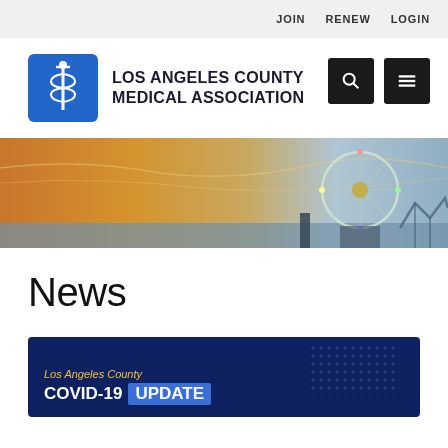JOIN   RENEW   LOGIN
[Figure (logo): Los Angeles County Medical Association logo with caduceus icon on blue background]
News
[Figure (photo): Santa Monica pier ferris wheel at sunset with orange sky]
[Figure (infographic): Los Angeles County COVID-19 UPDATE dark blue card with yellow italic county label and blue update badge]